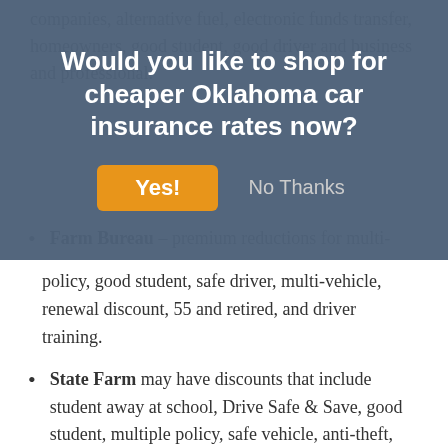[Figure (screenshot): Modal overlay dialog asking 'Would you like to shop for cheaper Oklahoma car insurance rates now?' with a yellow 'Yes!' button and 'No Thanks' text link, over a dimmed background of insurance company list content.]
Farm Bureau – premium reductions for multi-policy, good student, safe driver, multi-vehicle, renewal discount, 55 and retired, and driver training.
State Farm may have discounts that include student away at school, Drive Safe & Save, good student, multiple policy, safe vehicle, anti-theft, and passive restraint.
Allstate offers discounts including economy car, farm vehicle, multi-policy, anti-lock brakes, and defensive driver.
GEICO has discounts for military active duty, five-...